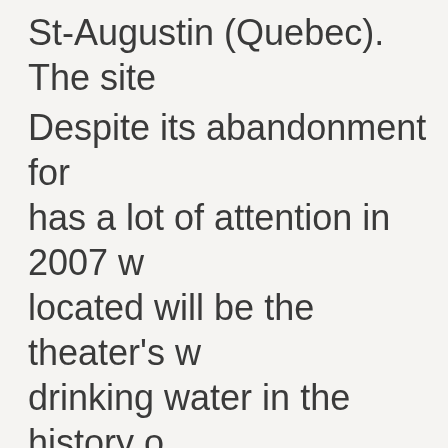St-Augustin (Quebec). The site
Despite its abandonment for has a lot of attention in 2007 w located will be the theater's w drinking water in the history o owners to be spilled in nature chemical products to health s carcinogen used in the buildin